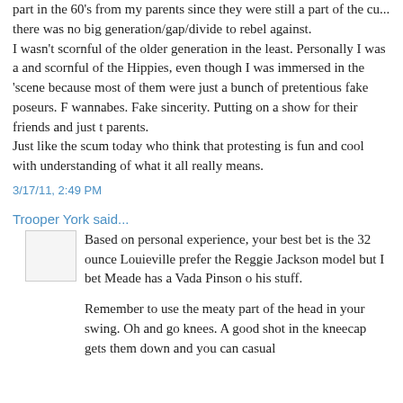part in the 60's from my parents since they were still a part of the culture... there was no big generation/gap/divide to rebel against.
I wasn't scornful of the older generation in the least. Personally I was and scornful of the Hippies, even though I was immersed in the 'scene' because most of them were just a bunch of pretentious fake poseurs. Fake wannabes. Fake sincerity. Putting on a show for their friends and just to rebel parents.
Just like the scum today who think that protesting is fun and cool with understanding of what it all really means.
3/17/11, 2:49 PM
Trooper York said...
Based on personal experience, your best bet is the 32 ounce Louisville prefer the Reggie Jackson model but I bet Meade has a Vada Pinson on his stuff.
Remember to use the meaty part of the head in your swing. Oh and go knees. A good shot in the kneecap gets them down and you can casually